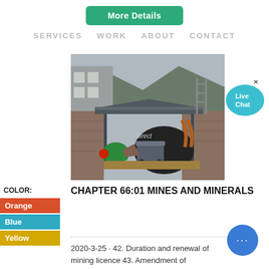[Figure (other): Green 'More Details' button at top center of webpage screenshot]
SERVICES   WORK   ABOUT   CONTACT
[Figure (photo): Mining site photograph showing industrial equipment including a green motor/fan, a mining cart, metal structure/canopy, stone walls, and mountainous background]
[Figure (other): Live Chat speech bubble icon in teal/cyan on the right side]
COLOR:
Orange
Blue
Yellow
CHAPTER 66:01 MINES AND MINERALS
2020-3-25 · 42. Duration and renewal of mining licence 43. Amendment of
[Figure (other): Blue circular chat button with three dots at bottom right]